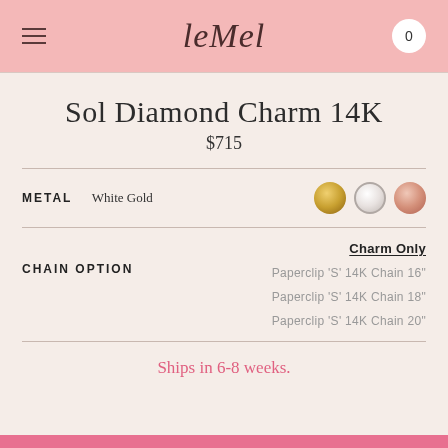leMel — 0
Sol Diamond Charm 14K
$715
METAL White Gold
CHAIN OPTION — Charm Only, Paperclip 'S' 14K Chain 16", Paperclip 'S' 14K Chain 18", Paperclip 'S' 14K Chain 20"
Ships in 6-8 weeks.